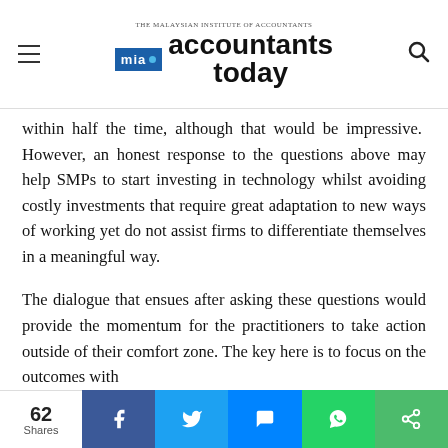MIA accountants today
within half the time, although that would be impressive.  However, an honest response to the questions above may help SMPs to start investing in technology whilst avoiding costly investments that require great adaptation to new ways of working yet do not assist firms to differentiate themselves in a meaningful way.
The dialogue that ensues after asking these questions would provide the momentum for the practitioners to take action outside of their comfort zone. The key here is to focus on the outcomes with
62 Shares